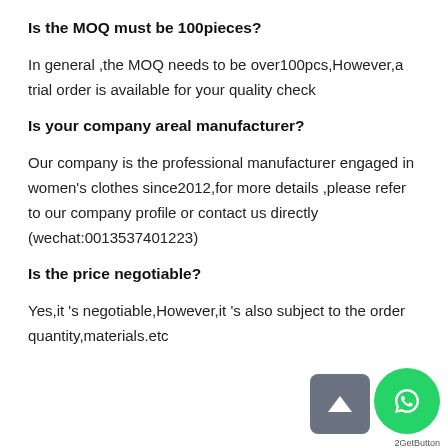Is the MOQ must be 100pieces?
In general ,the MOQ needs to be over100pcs,However,a trial order is available for your quality check
Is your company areal manufacturer?
Our company is the professional manufacturer engaged in women's clothes since2012,for more details ,please refer to our company profile or contact us directly (wechat:0013537401223)
Is the price negotiable?
Yes,it 's negotiable,However,it 's also subject to the order quantity,materials.etc